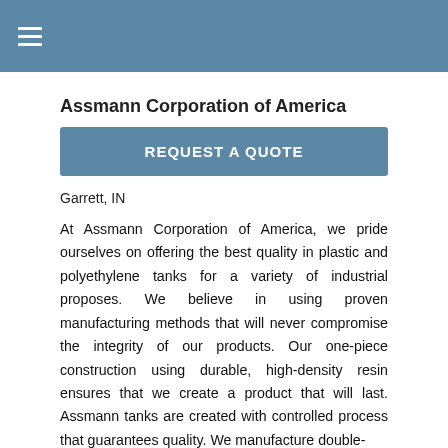≡
Assmann Corporation of America
REQUEST A QUOTE
Garrett, IN
At Assmann Corporation of America, we pride ourselves on offering the best quality in plastic and polyethylene tanks for a variety of industrial proposes. We believe in using proven manufacturing methods that will never compromise the integrity of our products. Our one-piece construction using durable, high-density resin ensures that we create a product that will last. Assmann tanks are created with controlled process that guarantees quality. We manufacture double-